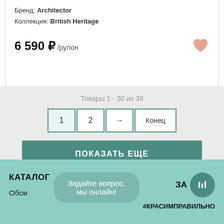Бренд: Architector
Коллекция: British Heritage
6 590 ₽ /рулон
Товары 1 - 30 из 38
1  2  →  Конец
ПОКАЗАТЬ ЕЩЕ
КАТАЛОГ
Задайте вопрос, мы онлайн!
ЗА
Обои
#КРАСИМПРАВИЛЬНО